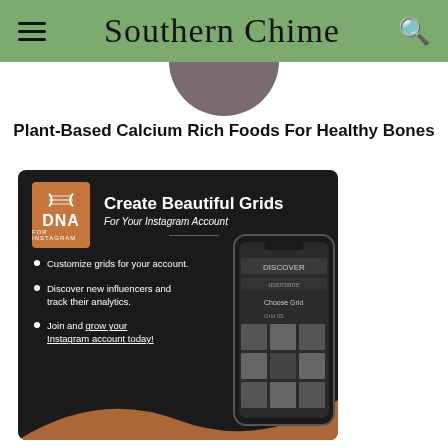Southern Chime
[Figure (photo): Partial view of a dark circular plate from the top, cropped at the header boundary]
Plant-Based Calcium Rich Foods For Healthy Bones
[Figure (infographic): DNA for Instagram advertisement banner with dark background. Headline: Create Beautiful Grids For Your Instagram Account. Bullet points: Customize grids for your account. Discover new influencers and track their analytics. Join and grow your Instagram account today! Shows a phone mockup with Instagram grid interface on the right side.]